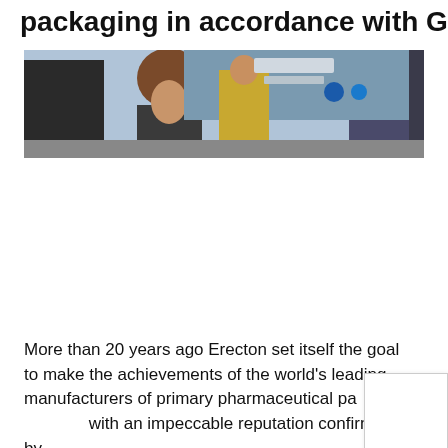packaging in accordance with GM
[Figure (photo): Group of people at what appears to be a pharmaceutical industry trade show or conference, standing near display booths with signage in the background.]
More than 20 years ago Erecton set itself the goal to make the achievements of the world's leading manufacturers of primary pharmaceutical packaging with an impeccable reputation confirmed by